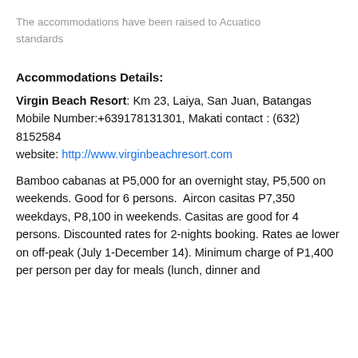The accommodations have been raised to Acuatico standards
Accommodations Details:
Virgin Beach Resort: Km 23, Laiya, San Juan, Batangas Mobile Number:+639178131301, Makati contact : (632) 8152584
website: http://www.virginbeachresort.com
Bamboo cabanas at P5,000 for an overnight stay, P5,500 on weekends. Good for 6 persons.  Aircon casitas P7,350 weekdays, P8,100 in weekends. Casitas are good for 4 persons. Discounted rates for 2-nights booking. Rates ae lower on off-peak (July 1-December 14). Minimum charge of P1,400 per person per day for meals (lunch, dinner and